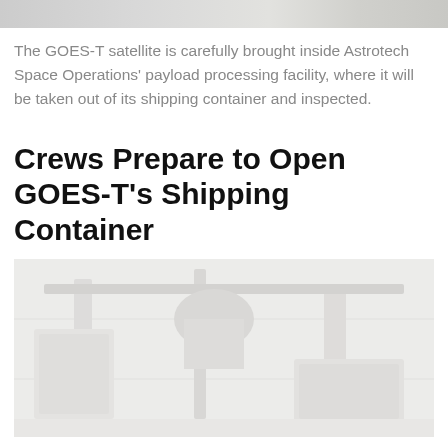[Figure (photo): Top portion of a photo showing the GOES-T satellite being brought into the Astrotech Space Operations payload processing facility]
The GOES-T satellite is carefully brought inside Astrotech Space Operations' payload processing facility, where it will be taken out of its shipping container and inspected.
Crews Prepare to Open GOES-T's Shipping Container
[Figure (photo): Photo of crews preparing to open the GOES-T shipping container inside a facility]